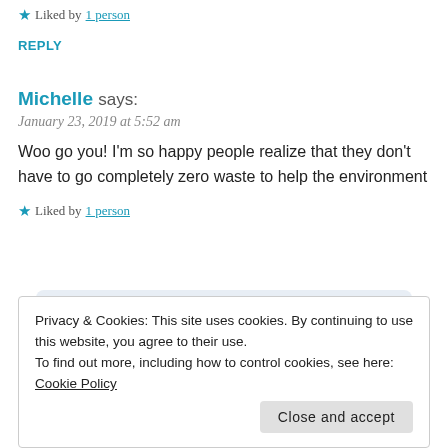★ Liked by 1 person
REPLY
Michelle says:
January 23, 2019 at 5:52 am
Woo go you! I'm so happy people realize that they don't have to go completely zero waste to help the environment
★ Liked by 1 person
[Figure (screenshot): WordPress GET THE APP banner with blue background and WordPress logo icon]
Privacy & Cookies: This site uses cookies. By continuing to use this website, you agree to their use. To find out more, including how to control cookies, see here: Cookie Policy
Close and accept